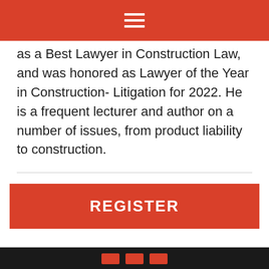Navigation menu header bar
as a Best Lawyer in Construction Law, and was honored as Lawyer of the Year in Construction- Litigation for 2022. He is a frequent lecturer and author on a number of issues, from product liability to construction.
REGISTER
Footer bar